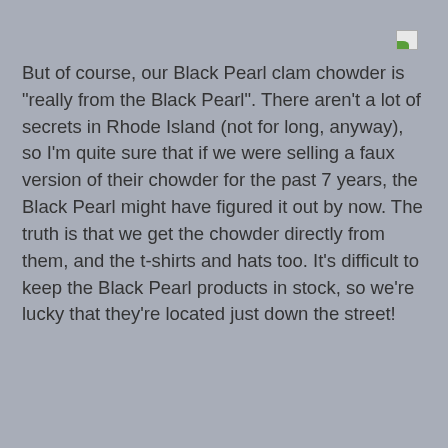[Figure (other): Small broken/placeholder image icon in the upper right area of the page]
But of course, our Black Pearl clam chowder is "really from the Black Pearl". There aren't a lot of secrets in Rhode Island (not for long, anyway), so I'm quite sure that if we were selling a faux version of their chowder for the past 7 years, the Black Pearl might have figured it out by now. The truth is that we get the chowder directly from them, and the t-shirts and hats too. It's difficult to keep the Black Pearl products in stock, so we're lucky that they're located just down the street!